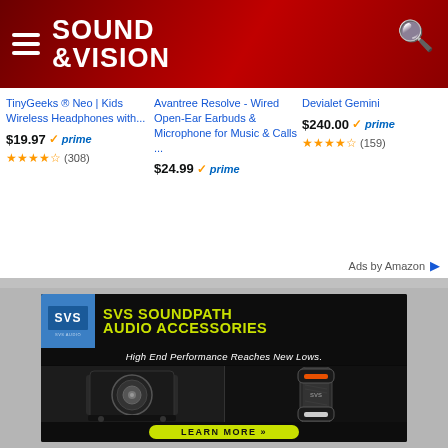Sound & Vision
TinyGeeks ® Neo | Kids Wireless Headphones with... $19.97 prime ★★★★☆ (308)
Avantree Resolve - Wired Open-Ear Earbuds & Microphone for Music & Calls ... $24.99 prime
Devialet Gemini $240.00 prime ★★★★☆ (159)
Ads by Amazon
[Figure (infographic): SVS SoundPath Audio Accessories advertisement banner with SVS logo, yellow-green headline text, subwoofer and cable images, and LEARN MORE button]